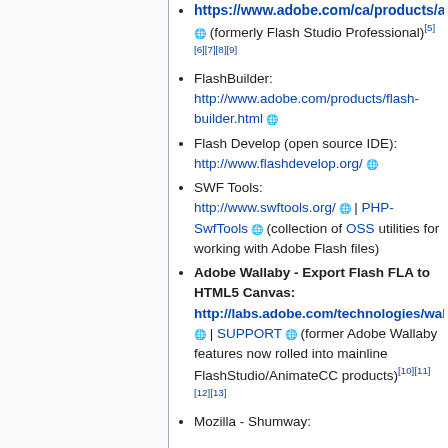https://www.adobe.com/ca/products/animate.html (formerly Flash Studio Professional)[5][6][7][8][9]
FlashBuilder: http://www.adobe.com/products/flash-builder.html
Flash Develop (open source IDE): http://www.flashdevelop.org/
SWF Tools: http://www.swftools.org/ | PHP-SwfTools (collection of OSS utilities for working with Adobe Flash files)
Adobe Wallaby - Export Flash FLA to HTML5 Canvas: http://labs.adobe.com/technologies/wallaby/ | SUPPORT (former Adobe Wallaby features now rolled into mainline FlashStudio/AnimateCC products)[10][11][12][13]
Mozilla - Shumway: